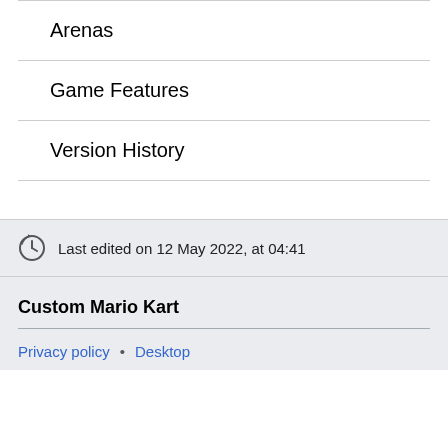Arenas
Game Features
Version History
Last edited on 12 May 2022, at 04:41
Custom Mario Kart
Privacy policy • Desktop